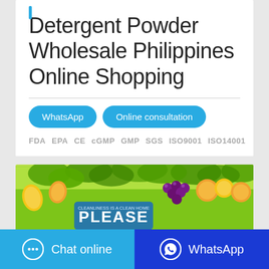Detergent Powder Wholesale Philippines Online Shopping
FDA  EPA  CE  cGMP  GMP  SGS  ISO9001  ISO14001
[Figure (illustration): Product banner image showing fruits (mangoes, grapes, peaches) and green leaves with a blue/white logo overlay for a cleaning product brand.]
Chat online
WhatsApp